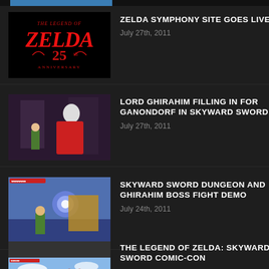[Figure (screenshot): Top cropped thumbnail - partial game screenshot]
[Figure (screenshot): The Legend of Zelda 25th Anniversary logo on black background]
ZELDA SYMPHONY SITE GOES LIVE
July 27th, 2011
[Figure (screenshot): Lord Ghirahim character screenshot from Skyward Sword]
LORD GHIRAHIM FILLING IN FOR GANONDORF IN SKYWARD SWORD
July 27th, 2011
[Figure (screenshot): Skyward Sword dungeon battle gameplay screenshot]
SKYWARD SWORD DUNGEON AND GHIRAHIM BOSS FIGHT DEMO
July 24th, 2011
[Figure (screenshot): Skyward Sword Comic-Con gameplay screenshot]
THE LEGEND OF ZELDA: SKYWARD SWORD COMIC-CON